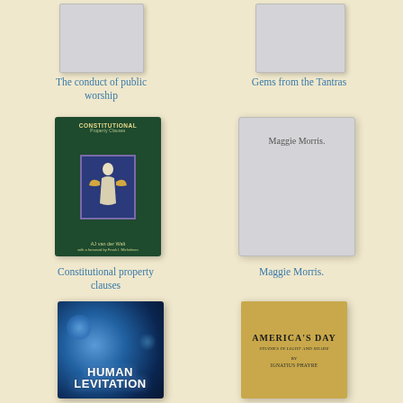[Figure (illustration): Book cover placeholder for 'The conduct of public worship' - gray placeholder rectangle]
The conduct of public worship
[Figure (illustration): Book cover placeholder for 'Gems from the Tantras' - gray placeholder rectangle]
Gems from the Tantras
[Figure (illustration): Book cover for 'Constitutional property clauses' by AJ van der Walt - dark green cover with angel illustration in purple border]
Constitutional property clauses
[Figure (illustration): Book cover placeholder for 'Maggie Morris.' - gray placeholder with text 'Maggie Morris.']
Maggie Morris.
[Figure (illustration): Book cover for 'Human Levitation' - blue bokeh background with bold white text]
[Figure (illustration): Book cover for 'America's Day: Studies in Light and Shade' by Ignatius Phayre - tan/gold cover with text]